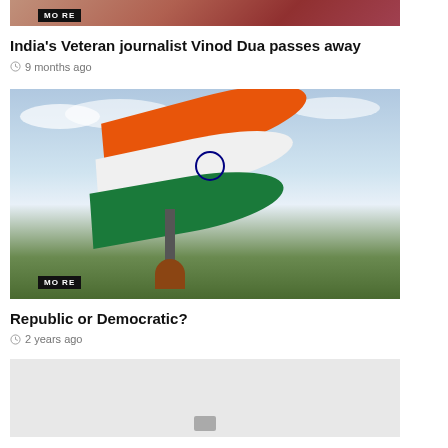[Figure (photo): Partial view of a person, cropped at top of page with MORE badge overlay]
India’s Veteran journalist Vinod Dua passes away
9 months ago
[Figure (photo): Person waving a large Indian tricolor flag (saffron, white, green) outdoors with cloudy sky background; MORE badge overlay at bottom left]
Republic or Democratic?
2 years ago
[Figure (photo): Partially loaded or blank image at bottom of page with small icon]